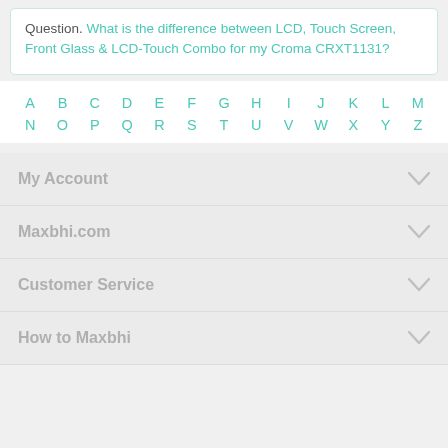Question. What is the difference between LCD, Touch Screen, Front Glass & LCD-Touch Combo for my Croma CRXT1131?
A B C D E F G H I J K L M N O P Q R S T U V W X Y Z
My Account
Maxbhi.com
Customer Service
How to Maxbhi